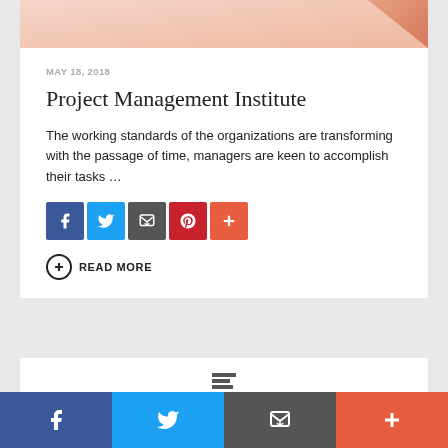[Figure (photo): Partial image at top of article card, showing skin-tone/gradient background suggesting a person photo cropped at top]
MAY 18, 2018
Project Management Institute
The working standards of the organizations are transforming with the passage of time, managers are keen to accomplish their tasks …
[Figure (infographic): Social sharing icons: Facebook (blue), Twitter (light blue), Email/share (dark gray), Pinterest (red), More/Plus (orange-red)]
READ MORE
[Figure (screenshot): Partial second article card visible at bottom with small icon]
[Figure (infographic): Bottom social share bar with four buttons: Facebook (dark blue), Twitter (light blue), Email/share (dark gray), Plus/More (orange-red)]